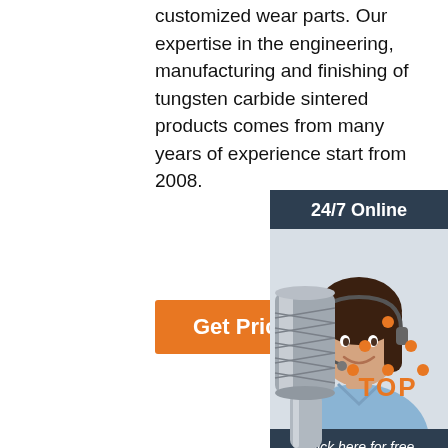customized wear parts. Our expertise in the engineering, manufacturing and finishing of tungsten carbide sintered products comes from many years of experience start from 2008.
Get Price
[Figure (photo): Customer service representative with headset, smiling - 24/7 Online support widget with 'Click here for free chat!' and 'QUOTATION' button]
[Figure (photo): Tungsten carbide rotary burr / cutting tool - cylindrical shape on a metal shank]
[Figure (other): TOP navigation button with orange dot triangle and bold 'TOP' text]